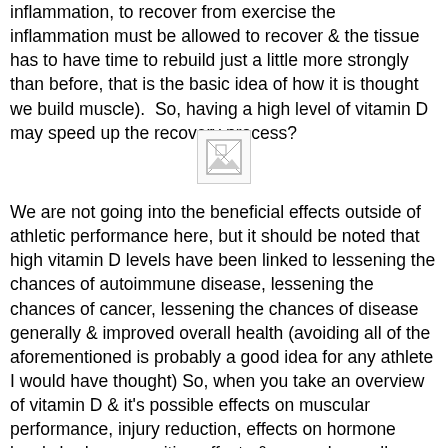inflammation, to recover from exercise the inflammation must be allowed to recover & the tissue has to have time to rebuild just a little more strongly than before, that is the basic idea of how it is thought we build muscle).  So, having a high level of vitamin D may speed up the recovery process?
[Figure (photo): Broken/missing image placeholder icon]
We are not going into the beneficial effects outside of athletic performance here, but it should be noted that high vitamin D levels have been linked to lessening the chances of autoimmune disease, lessening the chances of cancer, lessening the chances of disease generally & improved overall health (avoiding all of the aforementioned is probably a good idea for any athlete I would have thought) So, when you take an overview of vitamin D & it's possible effects on muscular performance, injury reduction, effects on hormone levels,body composition effects & general overall health benefits, I'd say that you don't really have any reason not to take some precautions to make sure you are getting enough.  If you feel you are getting enough I would suggest that you get a vitamin D test, these days they are cheap (get